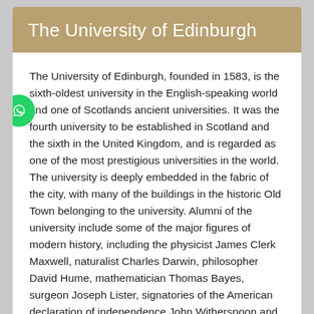The University of Edinburgh
The University of Edinburgh, founded in 1583, is the sixth-oldest university in the English-speaking world and one of Scotlands ancient universities. It was the fourth university to be established in Scotland and the sixth in the United Kingdom, and is regarded as one of the most prestigious universities in the world. The university is deeply embedded in the fabric of the city, with many of the buildings in the historic Old Town belonging to the university. Alumni of the university include some of the major figures of modern history, including the physicist James Clerk Maxwell, naturalist Charles Darwin, philosopher David Hume, mathematician Thomas Bayes, surgeon Joseph Lister, signatories of the American declaration of independence John Witherspoon and Benjamin Rush, inventor Alexander Graham Bell, first president of Tanzania, Julius Nyerere and a host of famous authors